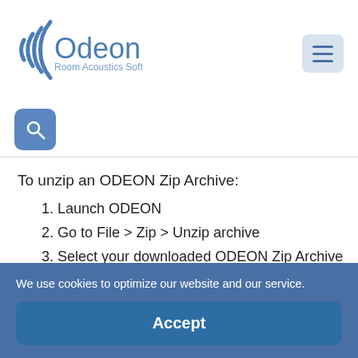Odeon Room Acoustics Software [logo] [hamburger menu]
[Figure (logo): Odeon Room Acoustics Software logo — concentric arc waves icon with 'Odeon' text and subtitle 'Room Acoustics Software']
To unzip an ODEON Zip Archive:
1. Launch ODEON
2. Go to File > Zip > Unzip archive
3. Select your downloaded ODEON Zip Archive
4. Select a folder to extract the files
We use cookies to optimize our website and our service.
Accept